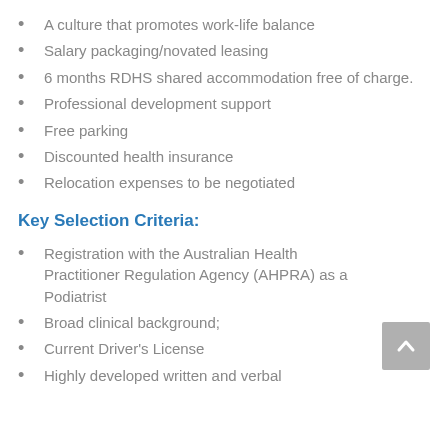A culture that promotes work-life balance
Salary packaging/novated leasing
6 months RDHS shared accommodation free of charge.
Professional development support
Free parking
Discounted health insurance
Relocation expenses to be negotiated
Key Selection Criteria:
Registration with the Australian Health Practitioner Regulation Agency (AHPRA) as a Podiatrist
Broad clinical background;
Current Driver's License
Highly developed written and verbal